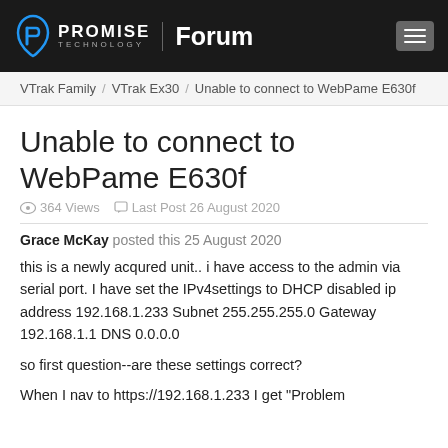PROMISE Technology Forum
VTrak Family / VTrak Ex30 / Unable to connect to WebPame E630f
Unable to connect to WebPame E630f
364 Views   Last Post 26 August 2020
Grace McKay posted this 25 August 2020
this is a newly acqured unit.. i have access to the admin via serial port. I have set the IPv4settings to DHCP disabled ip address 192.168.1.233 Subnet 255.255.255.0  Gateway 192.168.1.1 DNS 0.0.0.0
so first question--are these settings correct?
When I nav to https://192.168.1.233 I get "Problem loading..."